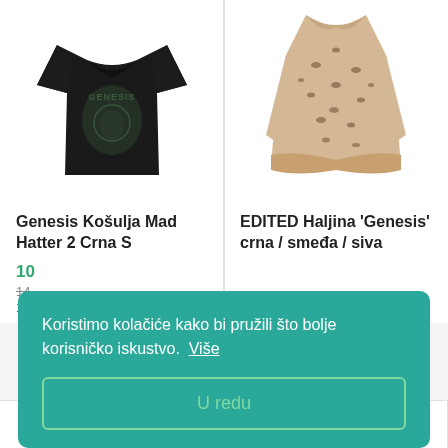[Figure (photo): Black Genesis band t-shirt with graphic print on a white background]
Genesis Košulja Mad Hatter 2 Crna S
10...
14...
1 p...
[Figure (photo): Leopard print long-sleeve mini dress with ruffled hem, EDITED brand]
EDITED Haljina 'Genesis' crna / smeđa / siva
[Figure (photo): Partial view of dark product at bottom left]
[Figure (photo): Partial view of dark product at bottom right]
Koristimo kolačiće kako bi pružili što bolje korisničko iskustvo.  Više
U redu